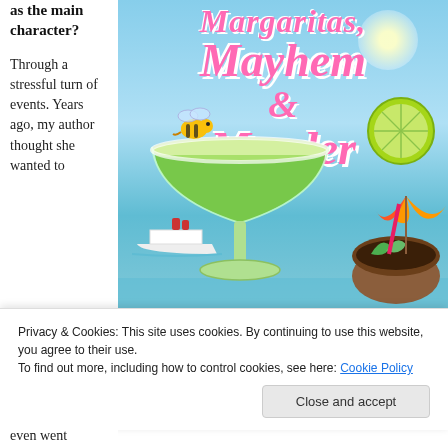as the main character? Through a stressful turn of events. Years ago, my author thought she wanted to even went
[Figure (illustration): Book cover for 'Margaritas, Mayhem & Murder' featuring a green margarita cocktail glass, a bee, a lime slice, a cruise ship, a coconut drink with umbrella and pink straw, set against a blue sky background. Title text in pink cursive script.]
Privacy & Cookies: This site uses cookies. By continuing to use this website, you agree to their use.
To find out more, including how to control cookies, see here: Cookie Policy
Close and accept